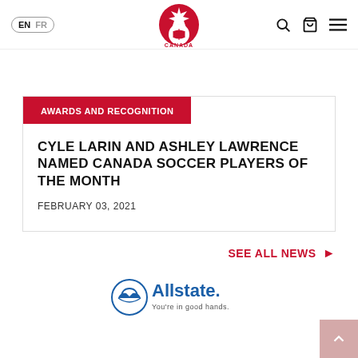EN | FR — Canada Soccer — Search, Cart, Menu
AWARDS AND RECOGNITION
CYLE LARIN AND ASHLEY LAWRENCE NAMED CANADA SOCCER PLAYERS OF THE MONTH
FEBRUARY 03, 2021
SEE ALL NEWS
[Figure (logo): Allstate logo — You're in good hands.]
[Figure (logo): Canada Soccer crest logo in red with maple leaf and soccer ball]